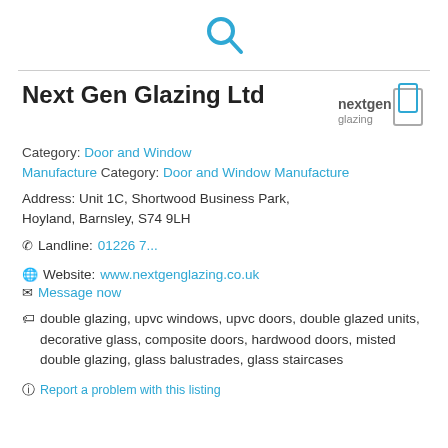[Figure (logo): Blue search/magnifying glass icon centered at top of page]
Next Gen Glazing Ltd
[Figure (logo): Next Gen Glazing company logo — text 'nextgen glazing' with a square bracket graphic, in grey/blue]
Category: Door and Window Manufacture Category: Door and Window Manufacture
Address: Unit 1C, Shortwood Business Park, Hoyland, Barnsley, S74 9LH
Landline: 01226 7...
Website: www.nextgenglazing.co.uk
Message now
double glazing, upvc windows, upvc doors, double glazed units, decorative glass, composite doors, hardwood doors, misted double glazing, glass balustrades, glass staircases
Report a problem with this listing